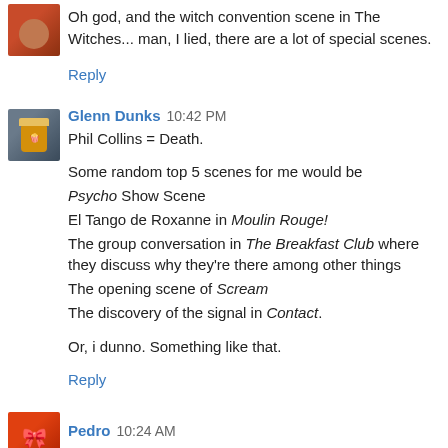Oh god, and the witch convention scene in The Witches... man, I lied, there are a lot of special scenes.
Reply
Glenn Dunks  10:42 PM
Phil Collins = Death.

Some random top 5 scenes for me would be
Psycho Show Scene
El Tango de Roxanne in Moulin Rouge!
The group conversation in The Breakfast Club where they discuss why they're there among other things
The opening scene of Scream
The discovery of the signal in Contact.

Or, i dunno. Something like that.
Reply
Pedro  10:24 AM